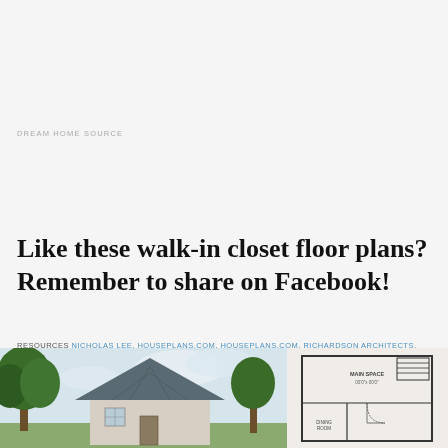DREAM HOME SOURCE
Like these walk-in closet floor plans? Remember to share on Facebook!
RESOURCES NICHOLAS LEE, HOUSEPLANS.COM, HOUSEPLANS.COM, RICHARDSON ARCHITECTS, SALA ARCHITECTS, INC., FRANK BETZ ASSOCIATES, ATLANTA PLAN SOURCE, AND DREAM HOME SOURCE
[Figure (photo): Photo of a house exterior with trees and a metal roof]
[Figure (engineering-diagram): Floor plan diagram showing a main space and dining room layout]